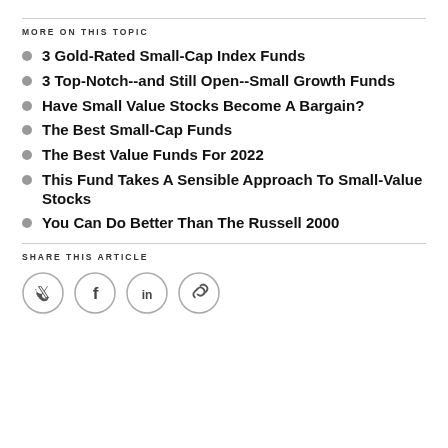MORE ON THIS TOPIC
3 Gold-Rated Small-Cap Index Funds
3 Top-Notch--and Still Open--Small Growth Funds
Have Small Value Stocks Become A Bargain?
The Best Small-Cap Funds
The Best Value Funds For 2022
This Fund Takes A Sensible Approach To Small-Value Stocks
You Can Do Better Than The Russell 2000
SHARE THIS ARTICLE
[Figure (other): Social share icons: Twitter, Facebook, LinkedIn, Link]